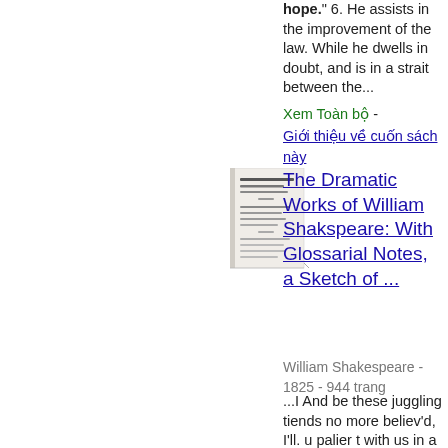hope." 6. He assists in the improvement of the law. While he dwells in doubt, and is in a strait between the...
Xem Toàn bộ - Giới thiệu về cuốn sách này
[Figure (photo): Thumbnail of a book cover for The Dramatic Works of William Shakspeare]
The Dramatic Works of William Shakspeare: With Glossarial Notes, a Sketch of ...
William Shakespeare - 1825 - 944 trang
...I And be these juggling tiends no more believ'd, I'll. u palier t with us in a double sense